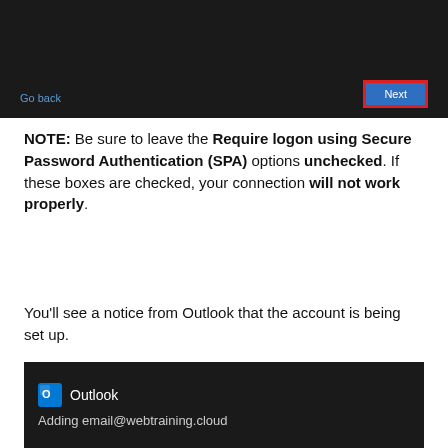[Figure (screenshot): Windows dialog screenshot showing 'Go back' link on the left and a 'Next' button (highlighted with red border) on the right, on a dark background.]
NOTE: Be sure to leave the Require logon using Secure Password Authentication (SPA) options unchecked. If these boxes are checked, your connection will not work properly.
You'll see a notice from Outlook that the account is being set up.
[Figure (screenshot): Outlook notification dialog on dark background showing Outlook icon and text 'Adding email@webtraining.cloud'.]